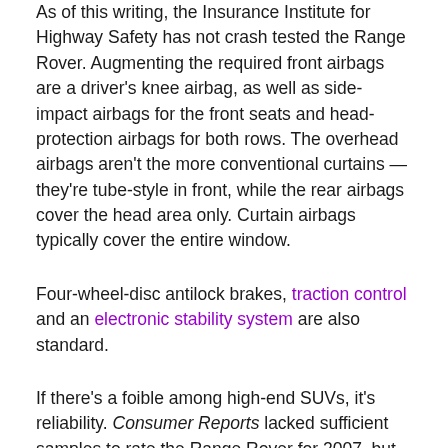As of this writing, the Insurance Institute for Highway Safety has not crash tested the Range Rover. Augmenting the required front airbags are a driver's knee airbag, as well as side-impact airbags for the front seats and head-protection airbags for both rows. The overhead airbags aren't the more conventional curtains — they're tube-style in front, while the rear airbags cover the head area only. Curtain airbags typically cover the entire window.
Four-wheel-disc antilock brakes, traction control and an electronic stability system are also standard.
If there's a foible among high-end SUVs, it's reliability. Consumer Reports lacked sufficient samples to rate the Range Rover for 2007, but for 2006 the SUV earned the worst possible score, Much Worse Than Average. The Escalade and GL-Class received the same rating,